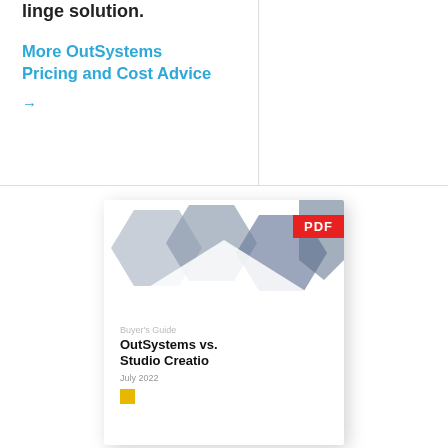linge solution.
More OutSystems Pricing and Cost Advice →
[Figure (illustration): Book/PDF cover card for 'OutSystems vs. Studio Creatio' Buyer's Guide, July 2022, with a red PDF badge in the top-right corner and geometric blue-gray hexagon shapes in the header area.]